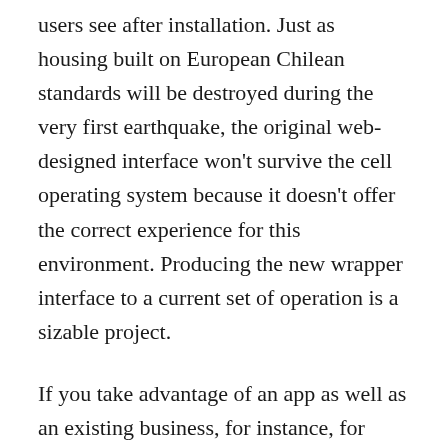users see after installation. Just as housing built on European Chilean standards will be destroyed during the very first earthquake, the original web-designed interface won't survive the cell operating system because it doesn't offer the correct experience for this environment. Producing the new wrapper interface to a current set of operation is a sizable project.
If you take advantage of an app as well as an existing business, for instance, for optimizing processes or for creating new sales channels, you have to track its payback. Mobile apps are like a bridge between clients and enterprises and are the